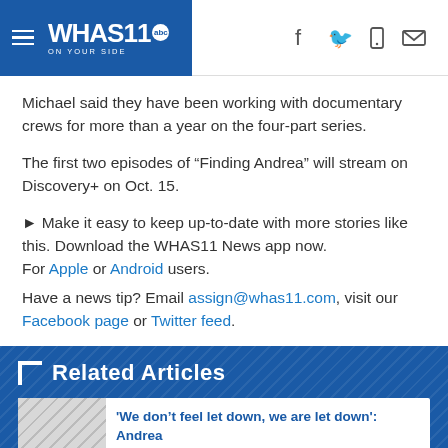WHAS11 abc ON YOUR SIDE
Michael said they have been working with documentary crews for more than a year on the four-part series.
The first two episodes of “Finding Andrea” will stream on Discovery+ on Oct. 15.
► Make it easy to keep up-to-date with more stories like this. Download the WHAS11 News app now. For Apple or Android users.
Have a news tip? Email assign@whas11.com, visit our Facebook page or Twitter feed.
Related Articles
'We don’t feel let down, we are let down': Andrea